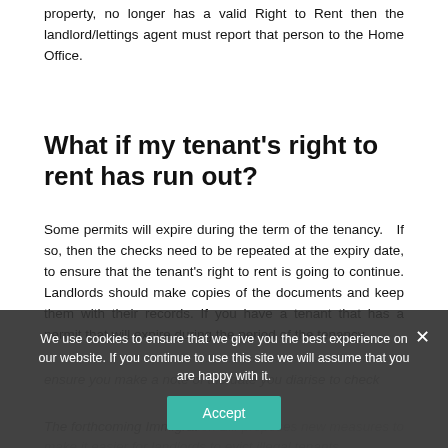property, no longer has a valid Right to Rent then the landlord/lettings agent must report that person to the Home Office.
What if my tenant's right to rent has run out?
Some permits will expire during the term of the tenancy.   If so, then the checks need to be repeated at the expiry date, to ensure that the tenant's right to rent is going to continue. Landlords should make copies of the documents and keep them with their records. If you have a tenant that has a permit that will expire during the period of the tenancy,
ensure you make a note of the date you diarise to check D...
The forthcoming Immigration Bill proposes new measures to make it easier for landlords to evict illegal tenants.